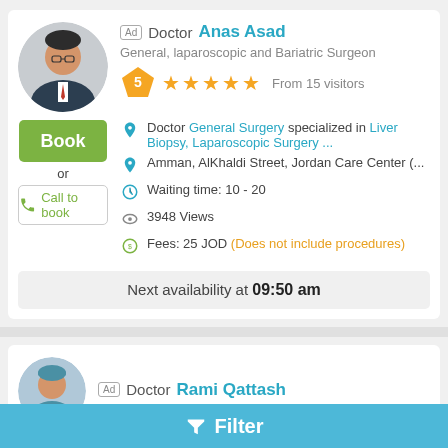[Figure (photo): Circular profile photo of Doctor Anas Asad in suit]
Ad  Doctor Anas Asad
General, laparoscopic and Bariatric Surgeon
[Figure (infographic): Pentagon badge with 5 and 5 gold stars rating, From 15 visitors]
Book
or
Call to book
Doctor General Surgery specialized in Liver Biopsy, Laparoscopic Surgery ...
Amman, AlKhaldi Street, Jordan Care Center (...
Waiting time: 10 - 20
3948 Views
Fees: 25 JOD (Does not include procedures)
Next availability at 09:50 am
[Figure (photo): Circular profile photo of Doctor Rami Qattash]
Ad  Doctor Rami Qattash
Filter